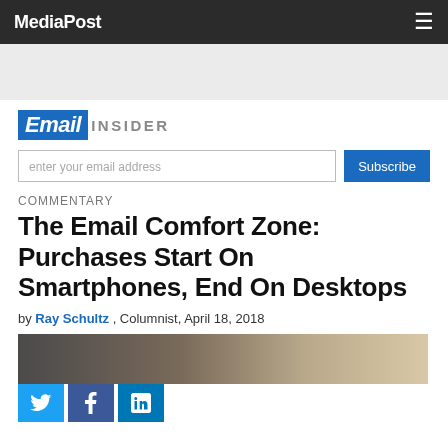MediaPost
[Figure (other): Gray advertisement banner area]
[Figure (logo): Email Insider logo — blue box with white italic 'Email' and gray uppercase 'INSIDER']
enter your email address  Subscribe
COMMENTARY
The Email Comfort Zone: Purchases Start On Smartphones, End On Desktops
by Ray Schultz , Columnist, April 18, 2018
[Figure (photo): Partial photo of a person using a smartphone, blurred warm-toned background]
[Figure (other): Social share buttons: Twitter (blue bird), Facebook (blue f), LinkedIn (blue in)]